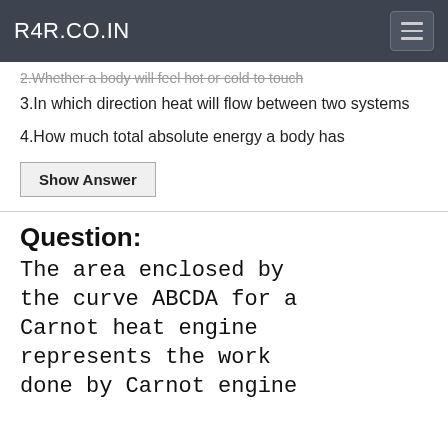R4R.CO.IN
2.Whether a body will feel hot or cold to touch
3.In which direction heat will flow between two systems
4.How much total absolute energy a body has
Show Answer
Question:
The area enclosed by the curve ABCDA for a Carnot heat engine represents the work done by Carnot engine